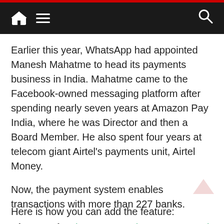Navigation bar with home icon, hamburger menu, and search icon
Earlier this year, WhatsApp had appointed Manesh Mahatme to head its payments business in India. Mahatme came to the Facebook-owned messaging platform after spending nearly seven years at Amazon Pay India, where he was Director and then a Board Member. He also spent four years at telecom giant Airtel's payments unit, Airtel Money.
Now, the payment system enables transactions with more than 227 banks.
Also Read: WhatsApp To Give More Control To Group Admin
Here is how you can add the feature: